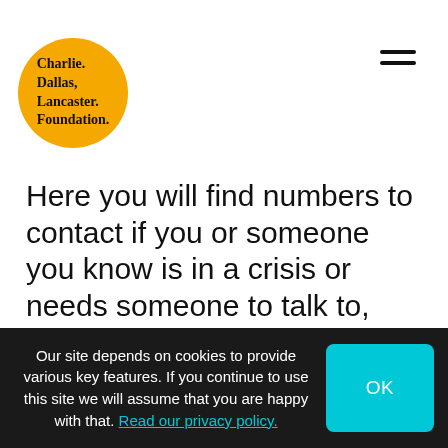[Figure (logo): Charlie Dallas Lancaster Foundation logo: handwritten text on a yellow/orange circle]
Here you will find numbers to contact if you or someone you know is in a crisis or needs someone to talk to, and websites that can offer help and support if you are suffering with your mental health
Our site depends on cookies to provide various key features. If you continue to use this site we will assume that you are happy with that. Read our privacy policy.